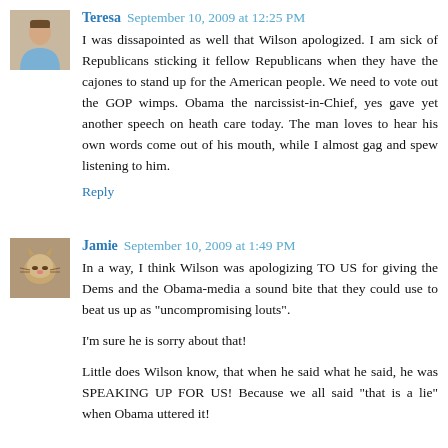[Figure (photo): Avatar photo of Teresa - woman in light blue shirt]
Teresa September 10, 2009 at 12:25 PM
I was dissapointed as well that Wilson apologized. I am sick of Republicans sticking it fellow Republicans when they have the cajones to stand up for the American people. We need to vote out the GOP wimps. Obama the narcissist-in-Chief, yes gave yet another speech on heath care today. The man loves to hear his own words come out of his mouth, while I almost gag and spew listening to him.
Reply
[Figure (photo): Avatar photo of Jamie - small animal/cat image]
Jamie September 10, 2009 at 1:49 PM
In a way, I think Wilson was apologizing TO US for giving the Dems and the Obama-media a sound bite that they could use to beat us up as "uncompromising louts".
I'm sure he is sorry about that!
Little does Wilson know, that when he said what he said, he was SPEAKING UP FOR US! Because we all said "that is a lie" when Obama uttered it!